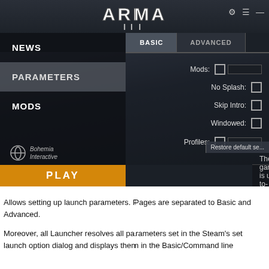[Figure (screenshot): ARMA III game launcher screenshot showing the PARAMETERS section with BASIC and ADVANCED tabs. Left sidebar shows NEWS, PARAMETERS (selected), and MODS navigation items. The BASIC tab is active showing checkboxes for Mods, No Splash, Skip Intro, Windowed, and Profiles. A 'Restore default se...' button is visible. Bottom shows PLAY button and 'The game is up-to-date.' status. Bohemia Interactive logo shown in lower left.]
Allows setting up launch parameters. Pages are separated to Basic and Advanced.
Moreover, all Launcher resolves all parameters set in the Steam's set launch option dialog and displays them in the Basic/Command line